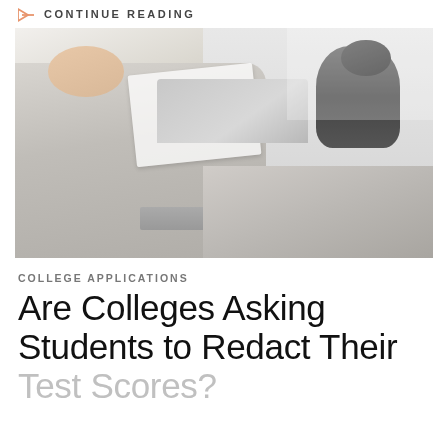CONTINUE READING
[Figure (photo): A person in a grey hoodie sitting on a bed with a laptop and papers, with a grey cat nearby]
COLLEGE APPLICATIONS
Are Colleges Asking Students to Redact Their Test Scores?